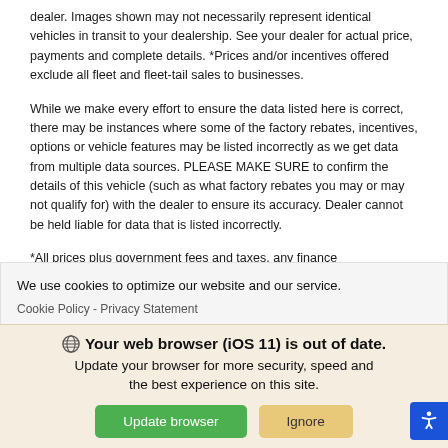dealer. Images shown may not necessarily represent identical vehicles in transit to your dealership. See your dealer for actual price, payments and complete details. *Prices and/or incentives offered exclude all fleet and fleet-tail sales to businesses.
While we make every effort to ensure the data listed here is correct, there may be instances where some of the factory rebates, incentives, options or vehicle features may be listed incorrectly as we get data from multiple data sources. PLEASE MAKE SURE to confirm the details of this vehicle (such as what factory rebates you may or may not qualify for) with the dealer to ensure its accuracy. Dealer cannot be held liable for data that is listed incorrectly.
*All prices plus government fees and taxes, any finance
We use cookies to optimize our website and our service.
Cookie Policy - Privacy Statement
Your web browser (iOS 11) is out of date. Update your browser for more security, speed and the best experience on this site.